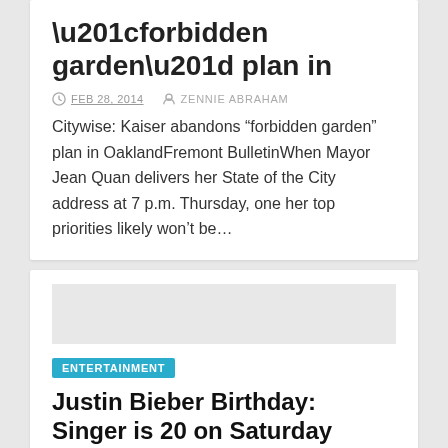“forbidden garden” plan in
FEB 28, 2014   ZENNIE ABRAHAM
Citywise: Kaiser abandons “forbidden garden” plan in OaklandFremont BulletinWhen Mayor Jean Quan delivers her State of the City address at 7 p.m. Thursday, one her top priorities likely won’t be…
ENTERTAINMENT
Justin Bieber Birthday: Singer is 20 on Saturday March 1; Fans Wish
FEB 28, 2014   ZENNIE ABRAHAM